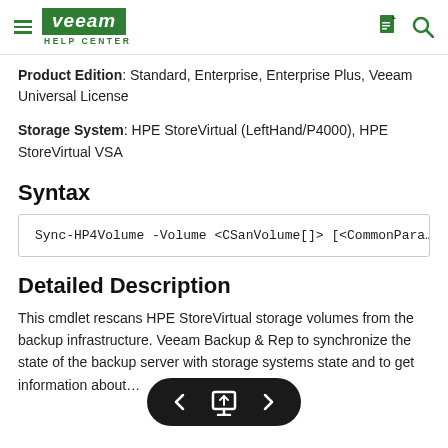Veeam Help Center
Product Edition: Standard, Enterprise, Enterprise Plus, Veeam Universal License
Storage System: HPE StoreVirtual (LeftHand/P4000), HPE StoreVirtual VSA
Syntax
Detailed Description
This cmdlet rescans HPE StoreVirtual storage volumes from the backup infrastructure. Veeam Backup & Rep… to synchronize the state of the backup server with storage systems state and to get information about…